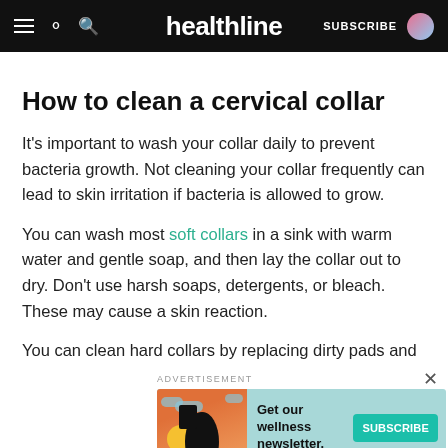healthline | SUBSCRIBE
How to clean a cervical collar
It's important to wash your collar daily to prevent bacteria growth. Not cleaning your collar frequently can lead to skin irritation if bacteria is allowed to grow.
You can wash most soft collars in a sink with warm water and gentle soap, and then lay the collar out to dry. Don't use harsh soaps, detergents, or bleach. These may cause a skin reaction.
You can clean hard collars by replacing dirty pads and
ADVERTISEMENT
[Figure (infographic): Advertisement banner: Get our wellness newsletter. Subscribe button on teal background with illustrated woman graphic.]